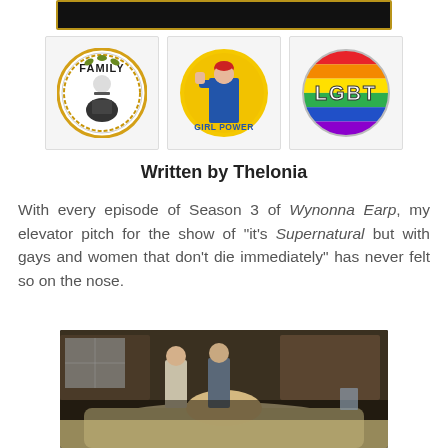[Figure (photo): Black banner/header bar with gold border at top of page]
[Figure (illustration): Three circular badge icons: FAMILY badge (black and gold with figure in coat), GIRL POWER badge (yellow with Rosie the Riveter style figure), LGBT badge (rainbow colored)]
Written by Thelonia
With every episode of Season 3 of Wynonna Earp, my elevator pitch for the show of "it's Supernatural but with gays and women that don't die immediately" has never felt so on the nose.
[Figure (photo): Scene from Wynonna Earp showing two women standing behind a body on a table in a dark room]